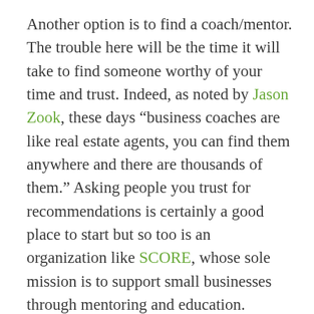Another option is to find a coach/mentor. The trouble here will be the time it will take to find someone worthy of your time and trust. Indeed, as noted by Jason Zook, these days “business coaches are like real estate agents, you can find them anywhere and there are thousands of them.” Asking people you trust for recommendations is certainly a good place to start but so too is an organization like SCORE, whose sole mission is to support small businesses through mentoring and education.
In small business, it’s easy to find yourself trapped inside a burning building feeling like you’ve got to keep the countertops clean. While helping you develop strategies for putting the fires out, a peer-